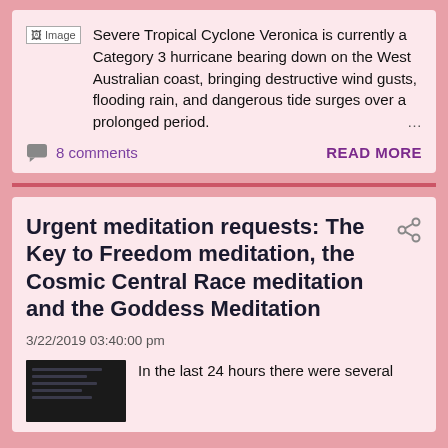Severe Tropical Cyclone Veronica is currently a Category 3 hurricane bearing down on the West Australian coast, bringing destructive wind gusts, flooding rain, and dangerous tide surges over a prolonged period. ...
8 comments
READ MORE
Urgent meditation requests: The Key to Freedom meditation, the Cosmic Central Race meditation and the Goddess Meditation
3/22/2019 03:40:00 pm
In the last 24 hours there were several